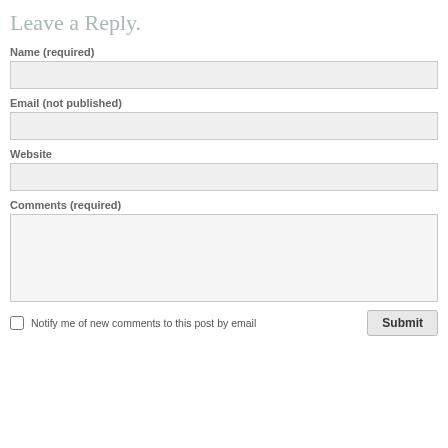Leave a Reply.
Name (required)
[Figure (other): Name input text field]
Email (not published)
[Figure (other): Email input text field]
Website
[Figure (other): Website input text field]
Comments (required)
[Figure (other): Comments textarea field]
Notify me of new comments to this post by email
Submit